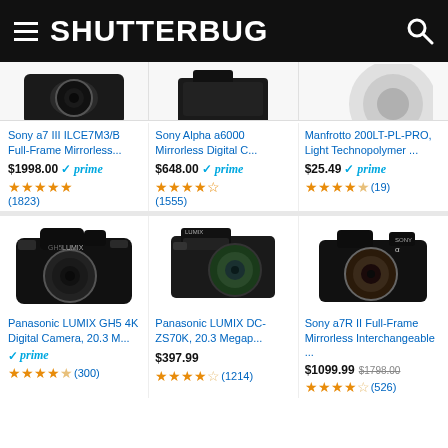SHUTTERBUG
[Figure (photo): Partial top views of three cameras/products cropped at top]
Sony a7 III ILCE7M3/B Full-Frame Mirrorless...
$1998.00 prime
(1823) 5 stars
Sony Alpha a6000 Mirrorless Digital C...
$648.00 prime
(1555) 5 stars
Manfrotto 200LT-PL-PRO, Light Technopolymer ...
$25.49 prime
(19) 4.5 stars
[Figure (photo): Panasonic LUMIX GH5 camera body]
[Figure (photo): Panasonic LUMIX DC-ZS70K compact camera]
[Figure (photo): Sony a7R II mirrorless camera body]
Panasonic LUMIX GH5 4K Digital Camera, 20.3 M...
prime
(300+) stars
Panasonic LUMIX DC-ZS70K, 20.3 Megap...
$397.99
(1214) 4 stars
Sony a7R II Full-Frame Mirrorless Interchangeable ...
$1099.99 $1798.00
(526+) stars